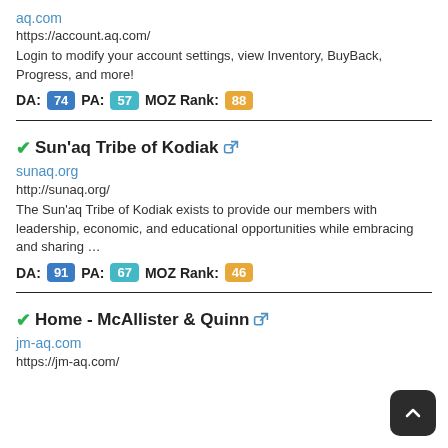aq.com
https://account.aq.com/
Login to modify your account settings, view Inventory, BuyBack, Progress, and more!
DA: 74  PA: 57  MOZ Rank: 88
✔ Sun'aq Tribe of Kodiak
sunaq.org
http://sunaq.org/
The Sun'aq Tribe of Kodiak exists to provide our members with leadership, economic, and educational opportunities while embracing and sharing …
DA: 91  PA: 67  MOZ Rank: 46
✔ Home - McAllister & Quinn
jm-aq.com
https://jm-aq.com/